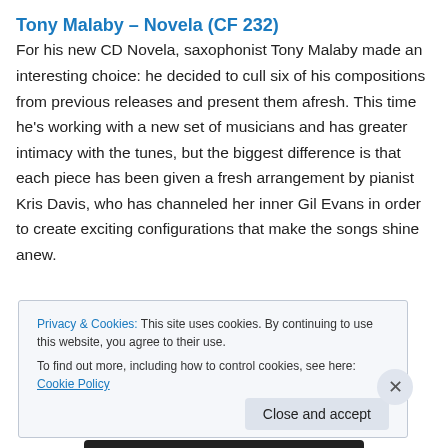Tony Malaby – Novela (CF 232)
For his new CD Novela, saxophonist Tony Malaby made an interesting choice: he decided to cull six of his compositions from previous releases and present them afresh. This time he's working with a new set of musicians and has greater intimacy with the tunes, but the biggest difference is that each piece has been given a fresh arrangement by pianist Kris Davis, who has channeled her inner Gil Evans in order to create exciting configurations that make the songs shine anew.
Privacy & Cookies: This site uses cookies. By continuing to use this website, you agree to their use.
To find out more, including how to control cookies, see here: Cookie Policy
Close and accept